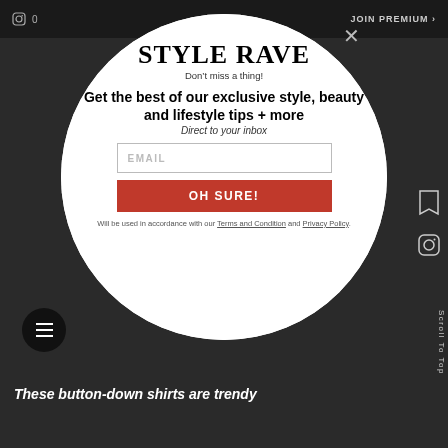JOIN PREMIUM >
STYLE RAVE
Don't miss a thing!
Get the best of our exclusive style, beauty and lifestyle tips + more
Direct to your inbox
EMAIL
OH SURE!
Will be used in accordance with our Terms and Condition and Privacy Policy.
These button-down shirts are trendy
Scroll To Top